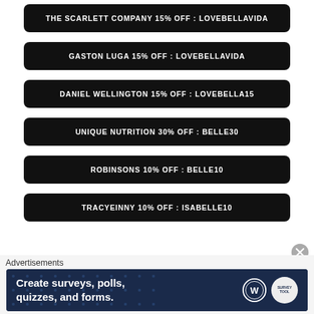THE SCARLETT COMPANY 15% OFF : LOVEBELLAVIDA
GASTON LUGA 15% OFF : LOVEBELLAVIDA
DANIEL WELLINGTON 15% OFF : LOVEBELLA15
UNIQUE NUTRITION 30% OFF : BELLE30
ROBINSONS 10% OFF : BELLE10
TRACYEINNY 10% OFF : ISABELLE10
Advertisements
[Figure (other): Advertisement banner: Create surveys, polls, quizzes, and forms. WordPress and survey tool logos shown on dark blue background with dot pattern.]